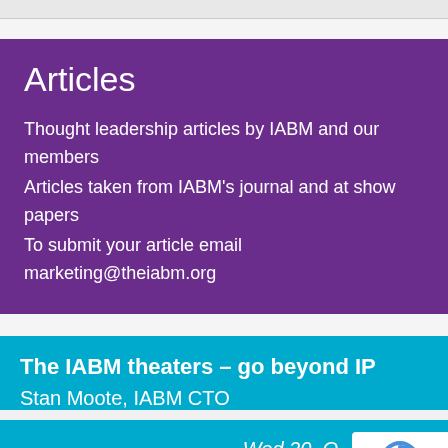Articles
Thought leadership articles by IABM and our members
Articles taken from IABM's journal and at show papers
To submit your article email marketing@theiabm.org
The IABM theaters – go beyond IP
Stan Moote, IABM CTO
Wed 20, O...